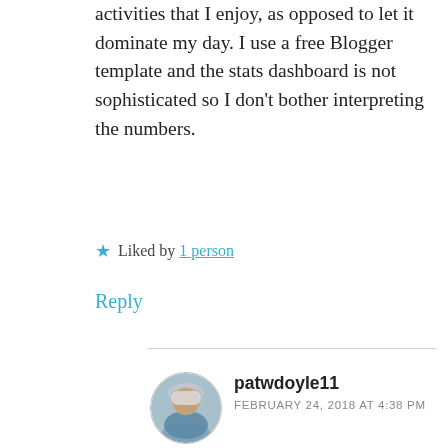activities that I enjoy, as opposed to let it dominate my day. I use a free Blogger template and the stats dashboard is not sophisticated so I don't bother interpreting the numbers.
★ Liked by 1 person
Reply
patwdoyle11
FEBRUARY 24, 2018 AT 4:38 PM
Natalie, I link my blog to FB only because that's how a few of my IRL friends access it. (they told me, so I continue). But I don't push social media... I'm clueless as to how to use